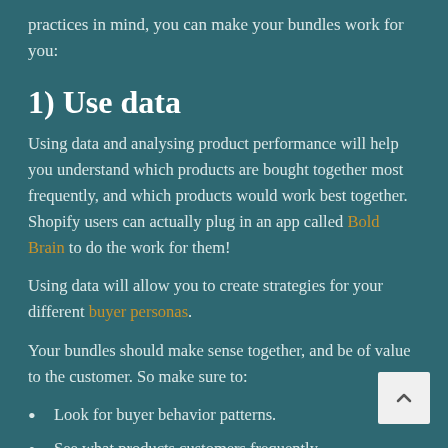practices in mind, you can make your bundles work for you:
1) Use data
Using data and analysing product performance will help you understand which products are bought together most frequently, and which products would work best together. Shopify users can actually plug in an app called Bold Brain to do the work for them!
Using data will allow you to create strategies for your different buyer personas.
Your bundles should make sense together, and be of value to the customer. So make sure to:
Look for buyer behavior patterns.
See what products customers frequently